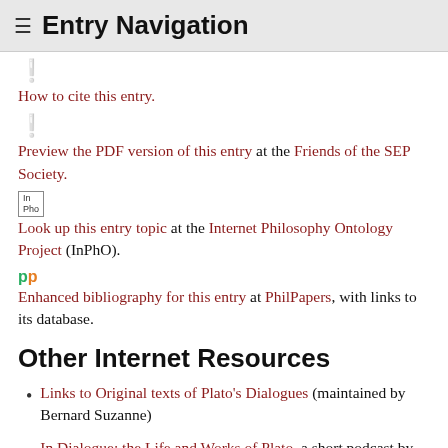≡ Entry Navigation
[Figure (other): Anchor/section icon symbol]
How to cite this entry.
[Figure (other): Anchor/section icon symbol]
Preview the PDF version of this entry at the Friends of the SEP Society.
[Figure (other): InPho small logo icon]
Look up this entry topic at the Internet Philosophy Ontology Project (InPhO).
[Figure (logo): PP logo in green and orange]
Enhanced bibliography for this entry at PhilPapers, with links to its database.
Other Internet Resources
Links to Original texts of Plato's Dialogues (maintained by Bernard Suzanne)
In Dialogue: the Life and Works of Plato, a short podcast by Peter Adamson (Philosophy, Kings College London).